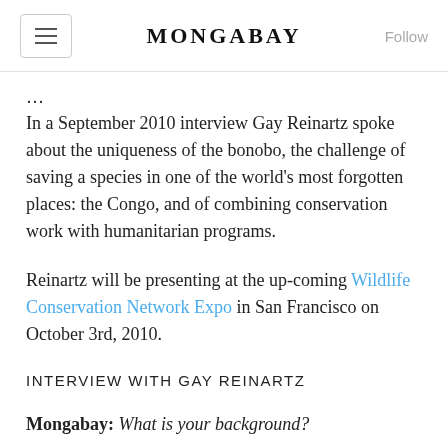MONGABAY
In a September 2010 interview Gay Reinartz spoke about the uniqueness of the bonobo, the challenge of saving a species in one of the world's most forgotten places: the Congo, and of combining conservation work with humanitarian programs.
Reinartz will be presenting at the up-coming Wildlife Conservation Network Expo in San Francisco on October 3rd, 2010.
INTERVIEW WITH GAY REINARTZ
Mongabay: What is your background?